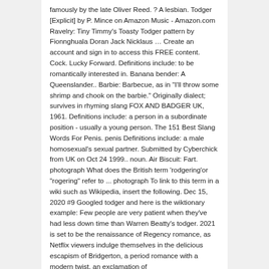famously by the late Oliver Reed. ? A lesbian. Todger [Explicit] by P. Mince on Amazon Music - Amazon.com Ravelry: Tiny Timmy's Toasty Todger pattern by Fionnghuala Doran Jack Nicklaus … Create an account and sign in to access this FREE content. Cock. Lucky Forward. Definitions include: to be romantically interested in. Banana bender: A Queenslander.. Barbie: Barbecue, as in "I'll throw some shrimp and chook on the barbie." Originally dialect; survives in rhyming slang FOX AND BADGER UK, 1961. Definitions include: a person in a subordinate position - usually a young person. The 151 Best Slang Words For Penis. penis Definitions include: a male homosexual's sexual partner. Submitted by Cyberchick from UK on Oct 24 1999.. noun. Air Biscuit: Fart. photograph What does the British term 'rodgering'or "rogering" refer to ... photograph To link to this term in a wiki such as Wikipedia, insert the following. Dec 15, 2020 #9 Googled todger and here is the wiktionary example: Few people are very patient when they've had less down time than Warren Beatty's todger. 2021 is set to be the renaissance of Regency romance, as Netflix viewers indulge themselves in the delicious escapism of Bridgerton, a period romance with a modern twist. an exclamation of